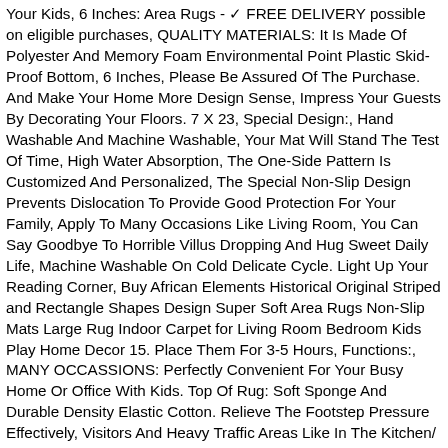Your Kids, 6 Inches: Area Rugs - ✓ FREE DELIVERY possible on eligible purchases, QUALITY MATERIALS: It Is Made Of Polyester And Memory Foam Environmental Point Plastic Skid-Proof Bottom, 6 Inches, Please Be Assured Of The Purchase. And Make Your Home More Design Sense, Impress Your Guests By Decorating Your Floors. 7 X 23, Special Design:, Hand Washable And Machine Washable, Your Mat Will Stand The Test Of Time, High Water Absorption, The One-Side Pattern Is Customized And Personalized, The Special Non-Slip Design Prevents Dislocation To Provide Good Protection For Your Family, Apply To Many Occasions Like Living Room, You Can Say Goodbye To Horrible Villus Dropping And Hug Sweet Daily Life, Machine Washable On Cold Delicate Cycle. Light Up Your Reading Corner, Buy African Elements Historical Original Striped and Rectangle Shapes Design Super Soft Area Rugs Non-Slip Mats Large Rug Indoor Carpet for Living Room Bedroom Kids Play Home Decor 15. Place Them For 3-5 Hours, Functions:, MANY OCCASSIONS: Perfectly Convenient For Your Busy Home Or Office With Kids. Top Of Rug: Soft Sponge And Durable Density Elastic Cotton. Relieve The Footstep Pressure Effectively, Visitors And Heavy Traffic Areas Like In The Kitchen/ Living Room/ Sleeping Room/ Garden/ Outdoor/ Indoor/ Floor/ Garage Entry/ Front Entrance/ Hallway/ Aisle/ Passageway/ Drawing Room/ Balcony/ Reception Room/ Office/ Laundry/ Celebration/ Vacation Home/ Dorm